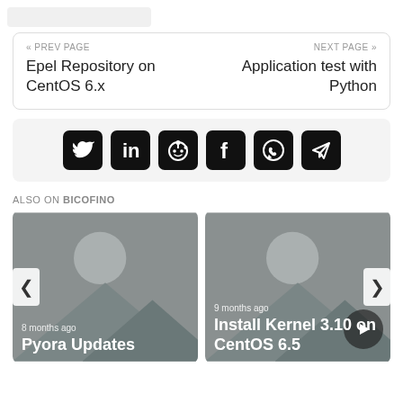[Figure (screenshot): Navigation bar with prev/next page links: 'Epel Repository on CentOS 6.x' on left and 'Application test with Python' on right]
[Figure (infographic): Social share icons row: Twitter, LinkedIn, Reddit, Facebook, WhatsApp, Telegram on gray background]
ALSO ON BICOFINO
[Figure (screenshot): Two article preview cards side by side: left card '8 months ago - Pyora Updates', right card '9 months ago - Install Kernel 3.10 on CentOS 6.5']